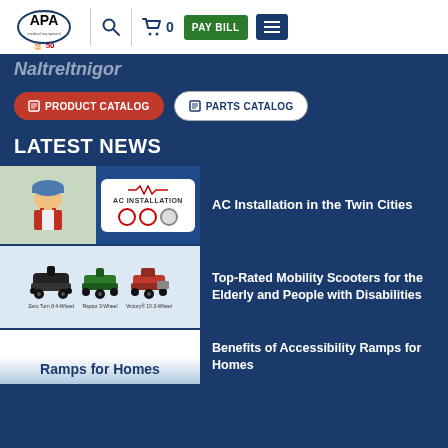[Figure (screenshot): APA Medical Equipment website header with logo, search icon, cart (0), PAY BILL button, and hamburger menu]
Naltreltnigor
PRODUCT CATALOG
PARTS CATALOG
LATEST NEWS
[Figure (photo): AC Installation thumbnail showing a worker and an AC Installation card]
AC Installation in the Twin Cities
[Figure (photo): Three mobility scooters: Zero Turn 8 4-Wheel, Raptor 3-Wheel, Victory 10.3-Wheel]
Top-Rated Mobility Scooters for the Elderly and People with Disabilities
[Figure (photo): Ramps for Homes thumbnail]
Benefits of Accessibility Ramps for Homes